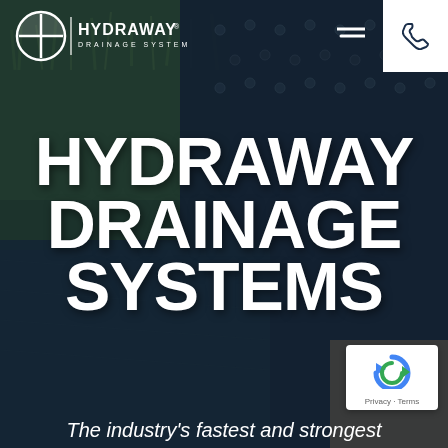[Figure (screenshot): Hydraway Drainage System website screenshot. Background shows a dark blue-tinted photo of grass on left and drainage mat/geotextile fabric with cylindrical drain studs on right. Header contains Hydraway logo (circle with cross design plus wordmark 'HYDRAWAY DRAINAGE SYSTEM'), hamburger menu icon, and white phone icon box. Large white bold hero text reads 'HYDRAWAY DRAINAGE SYSTEMS'. Bottom tagline reads 'The industry's fastest and strongest'. reCAPTCHA badge visible in bottom right corner with 'Privacy · Terms' text.]